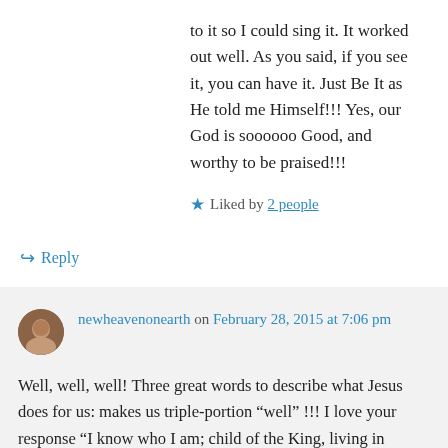to it so I could sing it. It worked out well. As you said, if you see it, you can have it. Just Be It as He told me Himself!!! Yes, our God is soooooo Good, and worthy to be praised!!!
★ Liked by 2 people
↳ Reply
newheavenonearth on February 28, 2015 at 7:06 pm
Well, well, well! Three great words to describe what Jesus does for us: makes us triple-portion “well” !!! I love your response “I know who I am; child of the King, living in Royalty” So Good! Just Be it! When we